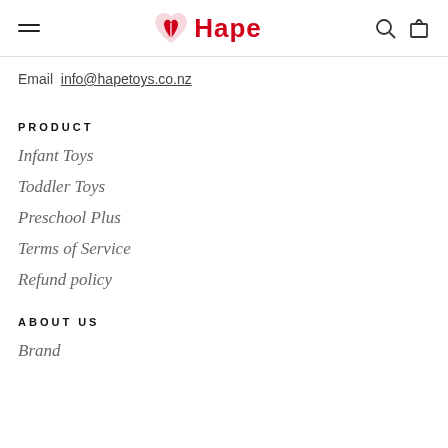Hape
Email  info@hapetoys.co.nz
PRODUCT
Infant Toys
Toddler Toys
Preschool Plus
Terms of Service
Refund policy
ABOUT US
Brand